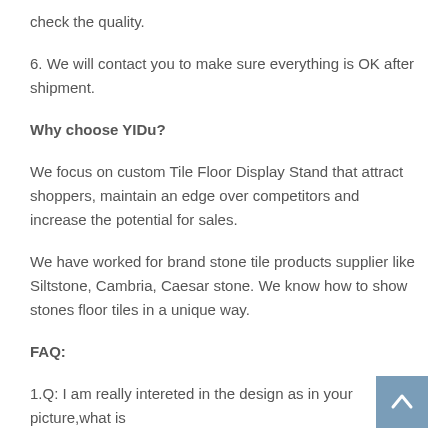check the quality.
6. We will contact you to make sure everything is OK after shipment.
Why choose YIDu?
We focus on custom Tile Floor Display Stand that attract shoppers, maintain an edge over competitors and increase the potential for sales.
We have worked for brand stone tile products supplier like Siltstone, Cambria, Caesar stone. We know how to show stones floor tiles in a unique way.
FAQ:
1.Q: I am really intereted in the design as in your picture,what is